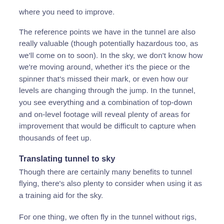where you need to improve.
The reference points we have in the tunnel are also really valuable (though potentially hazardous too, as we'll come on to soon). In the sky, we don't know how we're moving around, whether it's the piece or the spinner that's missed their mark, or even how our levels are changing through the jump. In the tunnel, you see everything and a combination of top-down and on-level footage will reveal plenty of areas for improvement that would be difficult to capture when thousands of feet up.
Translating tunnel to sky
Though there are certainly many benefits to tunnel flying, there's also plenty to consider when using it as a training aid for the sky.
For one thing, we often fly in the tunnel without rigs, but in the sky inevitably have to put them on. That immediately changes our weight, our shape and our